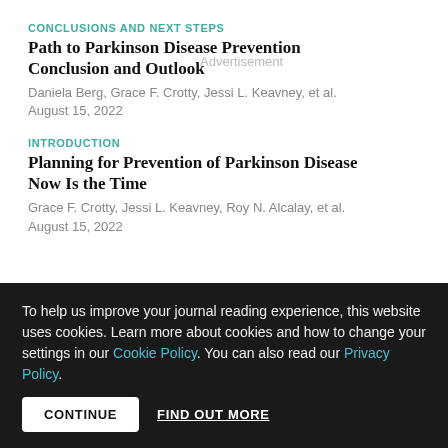CONCLUSIONS AND NEXT STEPS
Path to Parkinson Disease Prevention Conclusion and Outlook
Daniela Berg, Grace F. Crotty, Jessi L. Keavney, et al.
August 15, 2022
INTRODUCTION
Planning for Prevention of Parkinson Disease Now Is the Time
Grace F. Crotty, Jessi L. Keavney, Roy N. Alcalay, et al.
August 15, 2022
HOW TO MEASURE PREVENTION
Outcome Assessment in Parkinson Disease Prevention Trials
To help us improve your journal reading experience, this website uses cookies. Learn more about cookies and how to change your settings in our Cookie Policy. You can also read our Privacy Policy.
CONTINUE   FIND OUT MORE